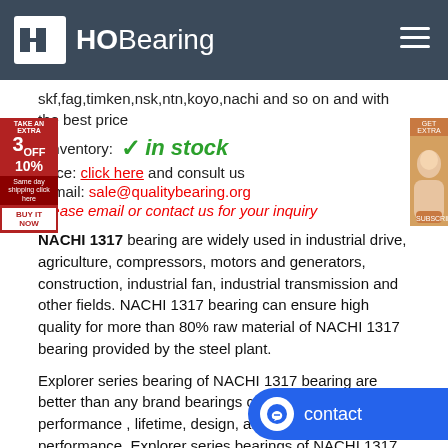HOBearing
skf,fag,timken,nsk,ntn,koyo,nachi and so on and with the best price
› Inventory: ✓ in stock
Price: click here and consult us
E-mail: sale@qualitybearing.org
Please email or contact us for your inquiry
NACHI 1317 bearing are widely used in industrial drive, agriculture, compressors, motors and generators, construction, industrial fan, industrial transmission and other fields. NACHI 1317 bearing can ensure high quality for more than 80% raw material of NACHI 1317 bearing provided by the steel plant.
Explorer series bearing of NACHI 1317 bearing are better than any brand bearings currently in bearing performance , lifetime, design, and the use of performance. Explorer series bearings of NACHI 1317 bearing have more advantages ,such as higher load rated , lower noise, reducing warranty costs greatly, increasing running time of the machine.